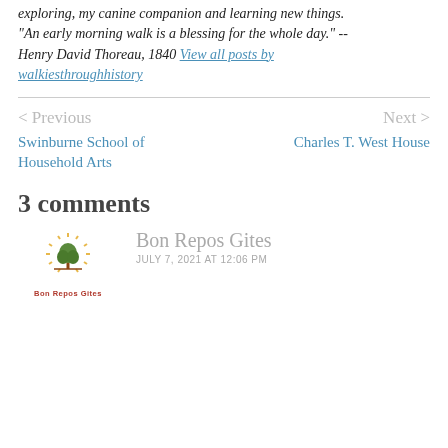exploring, my canine companion and learning new things. "An early morning walk is a blessing for the whole day." -- Henry David Thoreau, 1840 View all posts by walkiesthroughhistory
< Previous
Swinburne School of Household Arts
Next >
Charles T. West House
3 comments
Bon Repos Gites
JULY 7, 2021 AT 12:06 PM